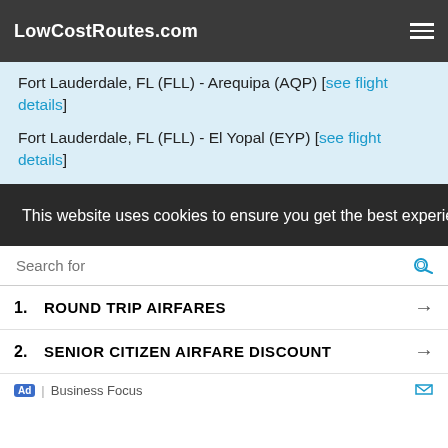LowCostRoutes.com
Fort Lauderdale, FL (FLL) - Arequipa (AQP) [see flight details]
Fort Lauderdale, FL (FLL) - El Yopal (EYP) [see flight details]
Fort Lauderdale, FL (FLL) - Jose Marie Cordova (MDE) [see flight details]
Fort Lauderdale, FL (FLL) - Simon Bolivar - Santa Marta (SMR) [see flight details]
Fort Lauderdale, FL (FLL) - El Calafate (FTE) [see flight details]
This website uses cookies to ensure you get the best experience on our website. Learn more
Search for
1. ROUND TRIP AIRFARES
2. SENIOR CITIZEN AIRFARE DISCOUNT
Ad | Business Focus